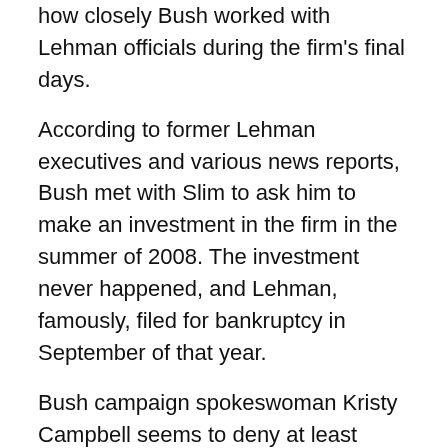how closely Bush worked with Lehman officials during the firm's final days.
According to former Lehman executives and various news reports, Bush met with Slim to ask him to make an investment in the firm in the summer of 2008. The investment never happened, and Lehman, famously, filed for bankruptcy in September of that year.
Bush campaign spokeswoman Kristy Campbell seems to deny at least some of this account. “Governor Bush met with Carlos Slim. It was regarding a specific telecom project,” she said in an email. “It was not regarding [a] general Carlos Slim infusion of cash to save Lehman Brothers.”
She would not deny, however, that this investment could in some way have helped prop up Lehman Brothers. In fact,